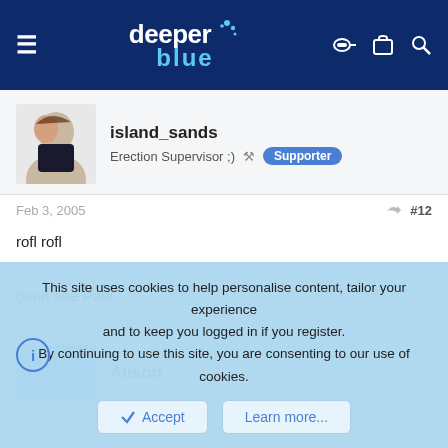deeper blue — site header with navigation icons
island_sands
Erection Supervisor ;) Supporter
Feb 3, 2005  #12
rofl rofl

good one Pab!
Alison
This site uses cookies to help personalise content, tailor your experience and to keep you logged in if you register.
By continuing to use this site, you are consenting to our use of cookies.